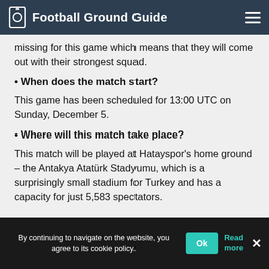Football Ground Guide
missing for this game which means that they will come out with their strongest squad.
• When does the match start?
This game has been scheduled for 13:00 UTC on Sunday, December 5.
• Where will this match take place?
This match will be played at Hatayspor's home ground – the Antakya Atatürk Stadyumu, which is a surprisingly small stadium for Turkey and has a capacity for just 5,583 spectators.
By continuing to navigate on the website, you agree to its cookie policy. Ok Read more ×